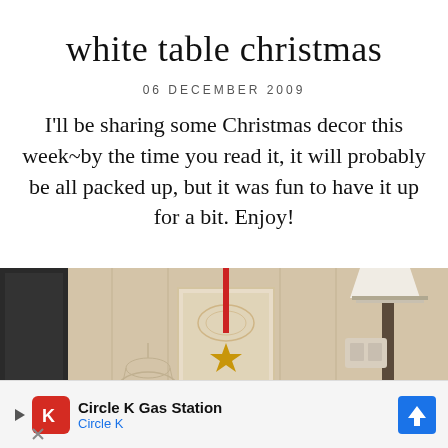white table christmas
06 DECEMBER 2009
I'll be sharing some Christmas decor this week~by the time you read it, it will probably be all packed up, but it was fun to have it up for a bit. Enjoy!
[Figure (photo): Interior room photo showing a beige/cream paneled wall with a framed decorative piece hanging with a red ribbon and gold star ornament, a lamp with white shade on the right, and a decorative wire birdcage on the left.]
Circle K Gas Station
Circle K